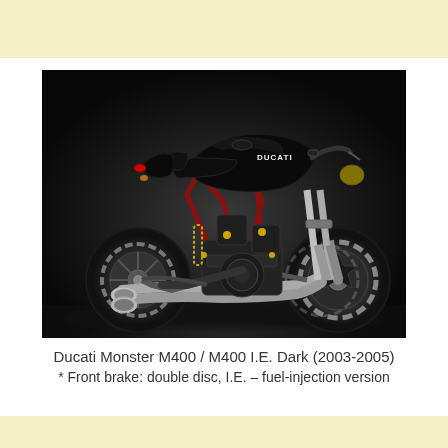[Figure (photo): Side profile photo of a Ducati Monster M400 / M400 I.E. Dark motorcycle (2003-2005), black color, on dark background, showing twin exhausts, trellis frame, and front double disc brakes.]
Ducati Monster M400 / M400 I.E. Dark (2003-2005)
* Front brake: double disc, I.E. – fuel-injection version